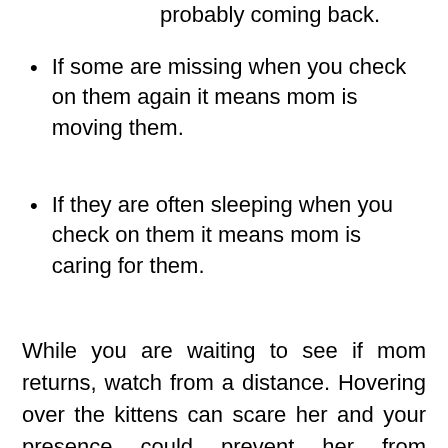probably coming back.
If some are missing when you check on them again it means mom is moving them.
If they are often sleeping when you check on them it means mom is caring for them.
While you are waiting to see if mom returns, watch from a distance. Hovering over the kittens can scare her and your presence could prevent her from returning to her kittens to feed them. Watch the kittens from a distance for several hours, or even a full day, while waiting to see if she comes back. (As long as they are warm, newborns can survive many hours without milk.) Another